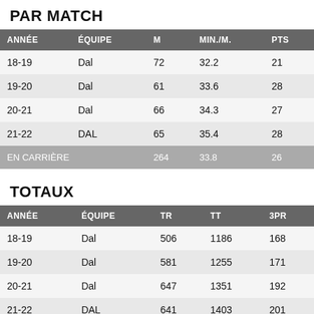PAR MATCH
| ANNÉE | ÉQUIPE | M | MIN./M. | PTS |
| --- | --- | --- | --- | --- |
| 18-19 | Dal | 72 | 32.2 | 21 |
| 19-20 | Dal | 61 | 33.6 | 28 |
| 20-21 | Dal | 66 | 34.3 | 27 |
| 21-22 | DAL | 65 | 35.4 | 28 |
| EN CARRIÈRE |  | 264 | 33.8 | 26 |
TOTAUX
| ANNÉE | ÉQUIPE | TR | TT | 3PR |
| --- | --- | --- | --- | --- |
| 18-19 | Dal | 506 | 1186 | 168 |
| 19-20 | Dal | 581 | 1255 | 171 |
| 20-21 | Dal | 647 | 1351 | 192 |
| 21-22 | DAL | 641 | 1403 | 201 |